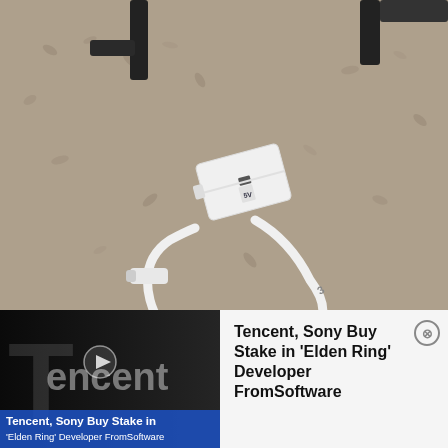[Figure (photo): Photo of white electronic device (USB hub or charger) with a white cable looped around it, lying on a beige/brown shaggy carpet.]
[Figure (photo): Tencent logo in white lettering on dark background, with a play button overlay and caption text. Bottom portion is a news article teaser thumbnail about Tencent and Sony buying stake in Elden Ring developer FromSoftware.]
Tencent, Sony Buy Stake in 'Elden Ring' Developer FromSoftware